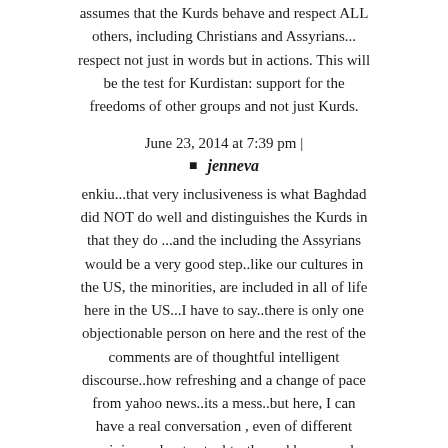assumes that the Kurds behave and respect ALL others, including Christians and Assyrians... respect not just in words but in actions. This will be the test for Kurdistan: support for the freedoms of other groups and not just Kurds.
June 23, 2014 at 7:39 pm |
jenneva
enkiu...that very inclusiveness is what Baghdad did NOT do well and distinguishes the Kurds in that they do ...and the including the Assyrians would be a very good step..like our cultures in the US, the minorities, are included in all of life here in the US...I have to say..there is only one objectionable person on here and the rest of the comments are of thoughtful intelligent discourse..how refreshing and a change of pace from yahoo news..its a mess..but here, I can have a real conversation , even of different opinions, about actual truths and hopes and dreams...love it..
June 24, 2014 at 4:04 am |
Dashty(Kurdistan)